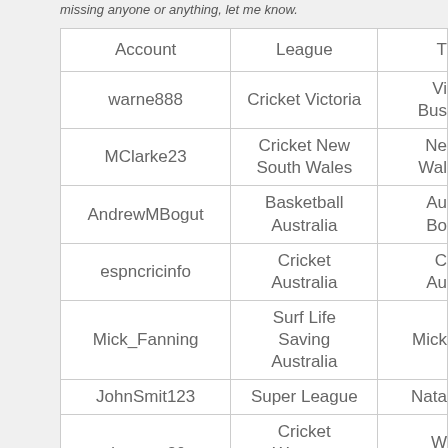missing anyone or anything, let me know.
| Account | League | T… |
| --- | --- | --- |
| warne888 | Cricket Victoria | Vi… Bus… |
| MClarke23 | Cricket New South Wales | Ne… Wal… |
| AndrewMBogut | Basketball Australia | Au… Bo… |
| espncricinfo | Cricket Australia | C… Au… |
| Mick_Fanning | Surf Life Saving Australia | Mick… |
| JohnSmit123 | Super League | Nata… |
| dmartyn30 | Cricket Western Australia | W… W… |